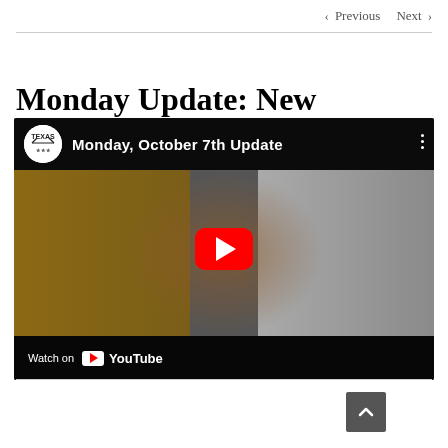< Previous   Next >
Monday Update: New Extended Hours
[Figure (screenshot): YouTube video thumbnail showing a man in a maroon Texas shirt standing in a gun store/shooting range. The video title reads 'Monday, October 7th Update'. The Texas logo appears in the top-left corner. A large red YouTube play button is centered. The bottom bar shows 'Watch on YouTube'.]